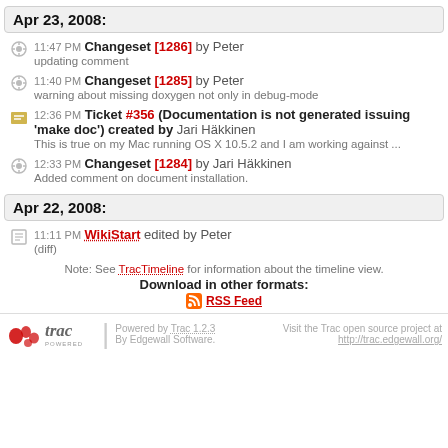Apr 23, 2008:
11:47 PM Changeset [1286] by Peter
updating comment
11:40 PM Changeset [1285] by Peter
warning about missing doxygen not only in debug-mode
12:36 PM Ticket #356 (Documentation is not generated issuing 'make doc') created by Jari Häkkinen
This is true on my Mac running OS X 10.5.2 and I am working against ...
12:33 PM Changeset [1284] by Jari Häkkinen
Added comment on document installation.
Apr 22, 2008:
11:11 PM WikiStart edited by Peter
(diff)
Note: See TracTimeline for information about the timeline view.
Download in other formats:
RSS Feed
Powered by Trac 1.2.3 By Edgewall Software. Visit the Trac open source project at http://trac.edgewall.org/